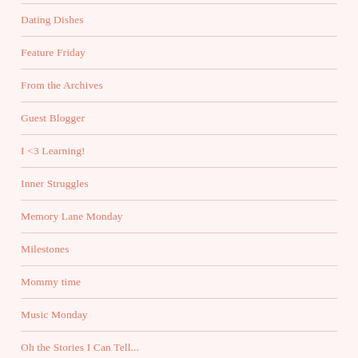Dating Dishes
Feature Friday
From the Archives
Guest Blogger
I <3 Learning!
Inner Struggles
Memory Lane Monday
Milestones
Mommy time
Music Monday
Oh the Stories I Can Tell...